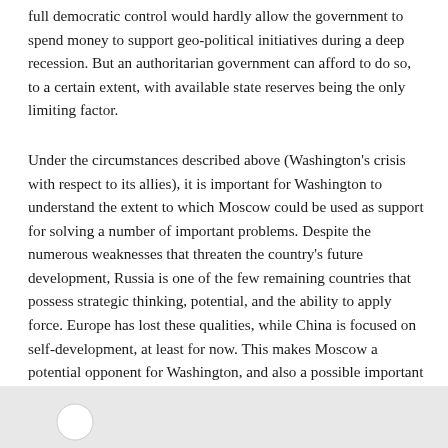full democratic control would hardly allow the government to spend money to support geo-political initiatives during a deep recession. But an authoritarian government can afford to do so, to a certain extent, with available state reserves being the only limiting factor.
Under the circumstances described above (Washington's crisis with respect to its allies), it is important for Washington to understand the extent to which Moscow could be used as support for solving a number of important problems. Despite the numerous weaknesses that threaten the country's future development, Russia is one of the few remaining countries that possess strategic thinking, potential, and the ability to apply force. Europe has lost these qualities, while China is focused on self-development, at least for now. This makes Moscow a potential opponent for Washington, and also a possible important partner. However, to become partners, both sides must move beyond the ideological notions established during earlier eras. This has not happened yet. But being aware of the "two solitudes" (Russia's solitude is so obvious, there's no need to talk about it) could influence strategic thinking.
[Figure (other): Footer area with gray background and a circular avatar/profile icon outline]